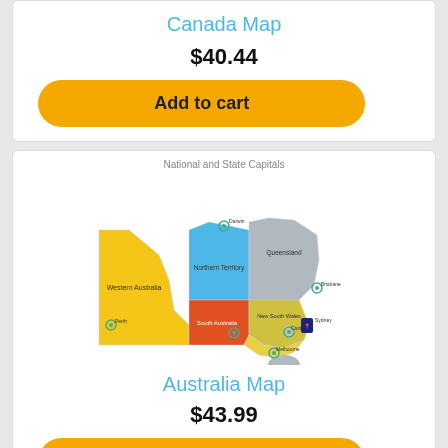Canada Map
$40.44
Add to cart
[Figure (map): Colorful map of Australia showing states and territories with National and State Capitals marked. States colored in yellow (Western Australia), blue (Northern Territory), red (South Australia), gray (Queensland), and yellow-green (New South Wales, Victoria). City markers visible for Darwin, Brisbane, Adelaide, Canberra, Sydney, Melbourne, Perth.]
National and State Capitals
Australia Map
$43.99
Add to cart